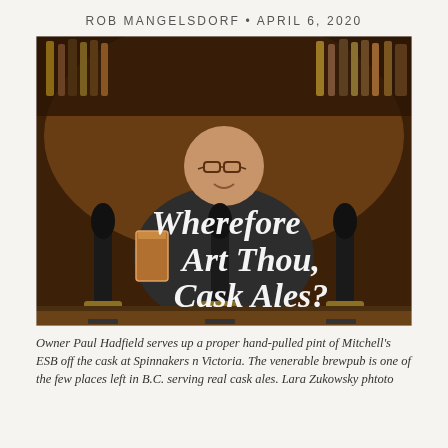ROB MANGELSDORF • APRIL 6, 2020
[Figure (photo): Owner Paul Hadfield stands behind a pub bar holding a pint of Mitchell's ESB, with beer taps in the foreground and bottles on shelves behind. Decorative text overlay reads 'Wherefore Art Thou, Cask Ales?']
Owner Paul Hadfield serves up a proper hand-pulled pint of Mitchell's ESB off the cask at Spinnakers n Victoria. The venerable brewpub is one of the few places left in B.C. serving real cask ales. Lara Zukowsky phtoto